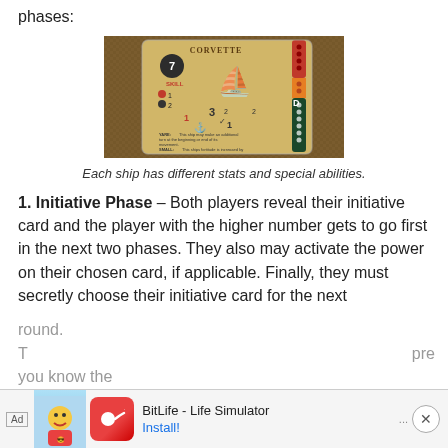phases:
[Figure (photo): A board game ship card labeled CORVETTE showing stats including skill levels, numbers and special abilities text, placed on a brown woven surface. The card has colored sections on the right side (red, orange, dark green) with dots/circles.]
Each ship has different stats and special abilities.
1. Initiative Phase – Both players reveal their initiative card and the player with the higher number gets to go first in the next two phases. They also may activate the power on their chosen card, if applicable. Finally, they must secretly choose their initiative card for the next round. T[...] pre you know the[...]